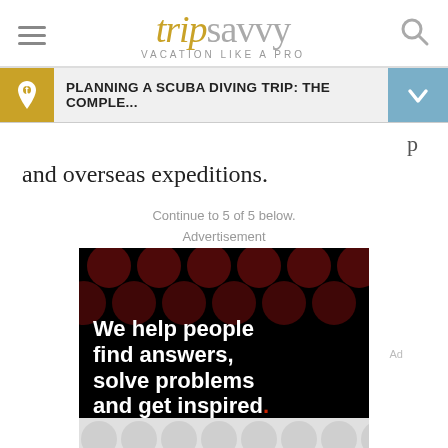tripsavvy — VACATION LIKE A PRO
PLANNING A SCUBA DIVING TRIP: THE COMPLE...
and overseas expeditions.
Continue to 5 of 5 below.
Advertisement
[Figure (other): Advertisement banner: black background with dark red dots pattern, white bold text reading 'We help people find answers, solve problems and get inspired.' with a red period at the end. Bottom section shows a light grey dots pattern.]